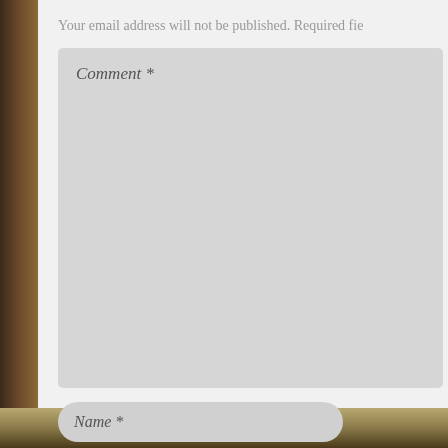Your email address will not be published. Required fie
[Figure (screenshot): Comment text area input field with placeholder text 'Comment *']
[Figure (screenshot): Name input field with placeholder 'Name *']
[Figure (screenshot): Email input field with placeholder 'Email *']
[Figure (screenshot): Website input field with placeholder 'Website']
Save my name, email, and website in this browser comment.